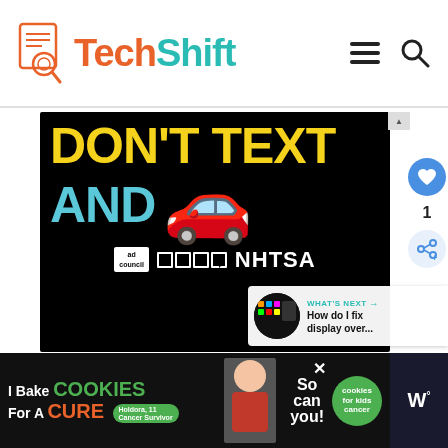TechShift
[Figure (photo): DON'T TEXT AND DRIVE public service advertisement banner from Ad Council and NHTSA. Black background with yellow text reading DON'T TEXT, cyan text AND, and a red car emoji. Ad Council and NHTSA logos at bottom.]
[Figure (infographic): WHAT'S NEXT arrow callout with thumbnail: How do I fix display over...]
[Figure (photo): Bottom advertisement banner: I Bake COOKIES For A CURE - Holdora, 11 Cancer Survivor - So can you! - cookies for kids cancer badge. Close X button. Dark right panel with W logo.]